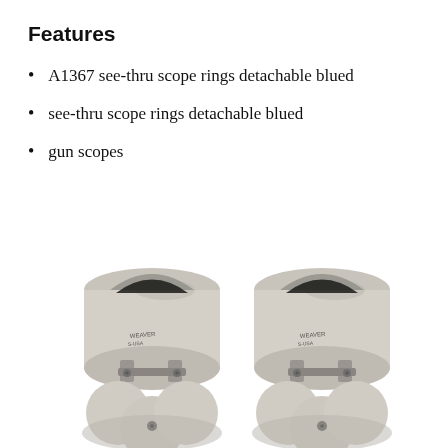Features
A1367 see-thru scope rings detachable blued
see-thru scope rings detachable blued
gun scopes
[Figure (photo): Two silver/nickel-finished see-thru scope rings with detachable clamp mechanism, shown side by side on a white background. Each ring has a cylindrical upper portion and a clover-shaped lower mounting base with screws.]